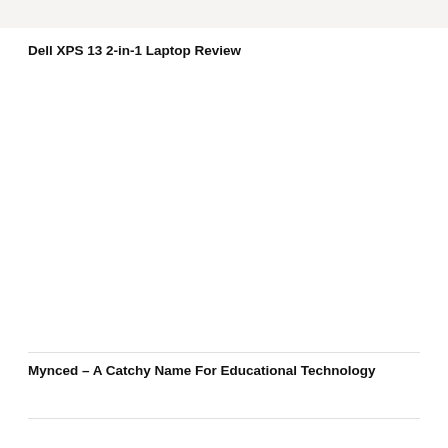[Figure (other): Light beige/cream header banner image strip at top of page]
Dell XPS 13 2-in-1 Laptop Review
Mynced – A Catchy Name For Educational Technology